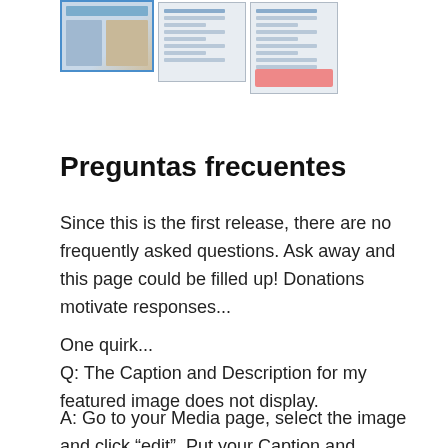[Figure (screenshot): Three screenshots of a web interface shown at the top of the page]
Preguntas frecuentes
Since this is the first release, there are no frequently asked questions. Ask away and this page could be filled up! Donations motivate responses...
One quirk...
Q: The Caption and Description for my featured image does not display.
A: Go to your Media page, select the image and click “edit”. Put your Caption and Description in the sections there (you may notice that those fields are empty despite your having set them in the post). Remember HTML is accepted in both of those sections.